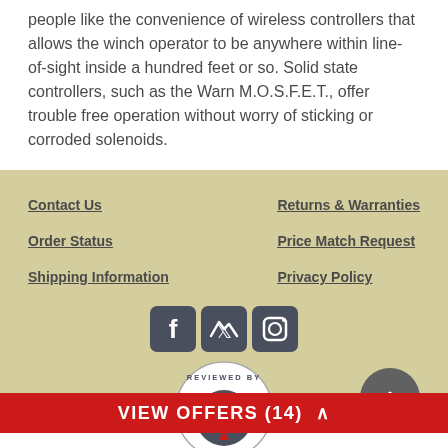people like the convenience of wireless controllers that allows the winch operator to be anywhere within line-of-sight inside a hundred feet or so. Solid state controllers, such as the Warn M.O.S.F.E.T., offer trouble free operation without worry of sticking or corroded solenoids.
Contact Us
Returns & Warranties
Order Status
Price Match Request
Shipping Information
Privacy Policy
[Figure (logo): Social media icons: Facebook, Twitter, Instagram]
[Figure (logo): Reviewed By badge - circular badge with star and letter A]
VIEW OFFERS (14)